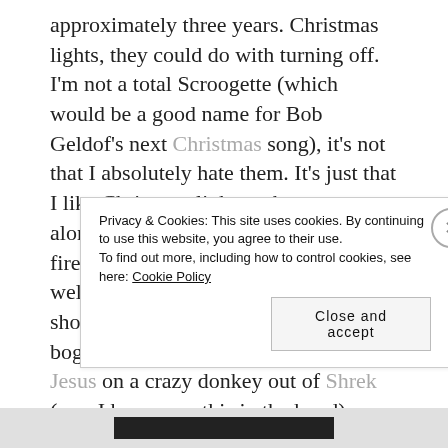approximately three years. Christmas lights, they could do with turning off. I'm not a total Scroogette (which would be a good name for Bob Geldof's next Christmas song), it's not that I absolutely hate them. It's just that I like Christmas lights to be more along the lines of the New Year's fireworks – in public places and done well. Like the Sydney fireworks, they should be tastefully tacky but not bogan. And definitely not fluoro baby Jesus on a crazy donkey out of Shrek (yes, I have seen this in the hood).

But in good old suburban Sydney the number of
Privacy & Cookies: This site uses cookies. By continuing to use this website, you agree to their use.
To find out more, including how to control cookies, see here: Cookie Policy

Close and accept